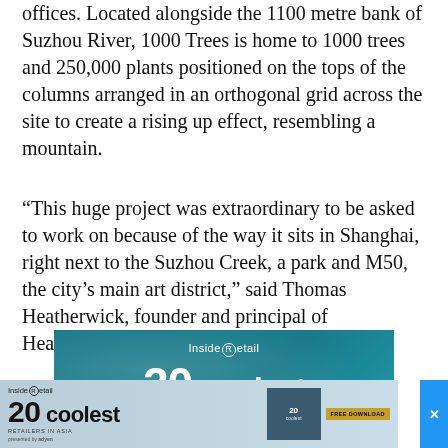offices. Located alongside the 1100 metre bank of Suzhou River, 1000 Trees is home to 1000 trees and 250,000 plants positioned on the tops of the columns arranged in an orthogonal grid across the site to create a rising up effect, resembling a mountain.
“This huge project was extraordinary to be asked to work on because of the way it sits in Shanghai, right next to the Suzhou Creek, a park and M50, the city’s main art district,” said Thomas Heatherwick, founder and principal of Heatherwick Studio.
[Figure (other): Inside Retail advertisement banner showing '20 coolest' promotion, with a secondary popup ad below also showing '20 coolest Retailers in Asia' with a free download button and a close (x) button.]